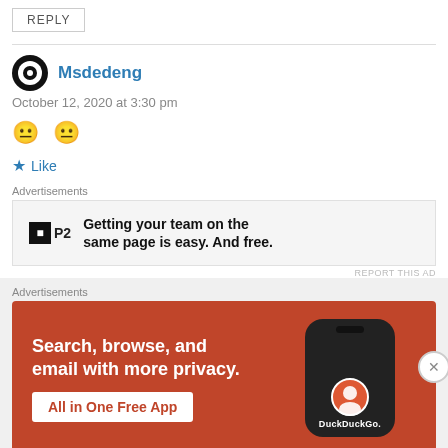REPLY
Msdedeng
October 12, 2020 at 3:30 pm
😐 😐
Like
Advertisements
[Figure (other): P2 advertisement banner: Getting your team on the same page is easy. And free.]
REPORT THIS AD
Advertisements
[Figure (other): DuckDuckGo advertisement: Search, browse, and email with more privacy. All in One Free App]